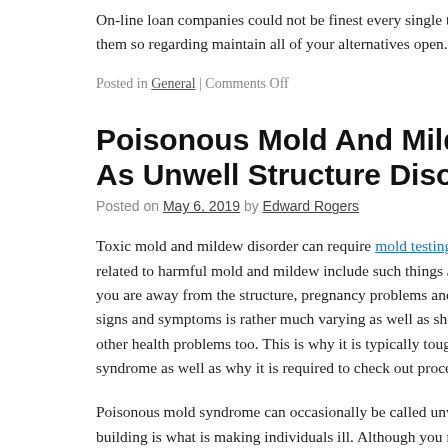On-line loan companies could not be finest every single time, but check them so regarding maintain all of your alternatives open.
Posted in General | Comments Off
Poisonous Mold And Mildew Syndrome– As Unwell Structure Disorder
Posted on May 6, 2019 by Edward Rogers
Toxic mold and mildew disorder can require mold testing st pete related to harmful mold and mildew include such things as scrat you are away from the structure, pregnancy problems and also i signs and symptoms is rather much varying as well as shows tha other health problems too. This is why it is typically tough for d syndrome as well as why it is required to check out procedures
Poisonous mold syndrome can occasionally be called unwell str building is what is making individuals ill. Although you may no